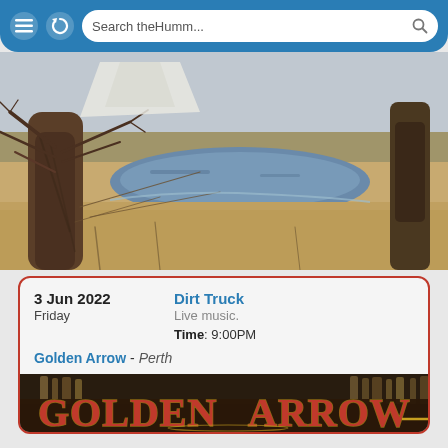Search theHumm...
[Figure (photo): Outdoor nature scene showing a pond or stream with bare winter trees, dry grass, and a tree trunk in the foreground]
3 Jun 2022
Friday
Dirt Truck
Live music.
Time: 9:00PM
Golden Arrow - Perth
[Figure (logo): Golden Arrow bar logo with large red and gold stylized lettering on a dark background with bar shelves visible]